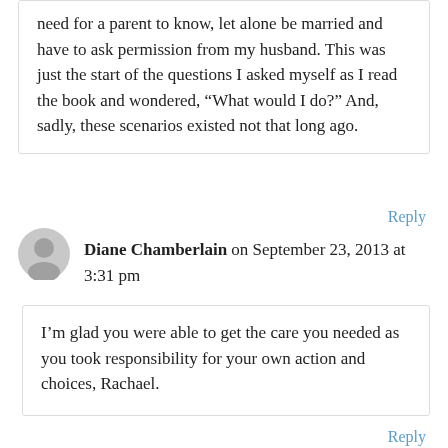need for a parent to know, let alone be married and have to ask permission from my husband. This was just the start of the questions I asked myself as I read the book and wondered, “What would I do?” And, sadly, these scenarios existed not that long ago.
Reply
Diane Chamberlain on September 23, 2013 at 3:31 pm
I’m glad you were able to get the care you needed as you took responsibility for your own action and choices, Rachael.
Reply